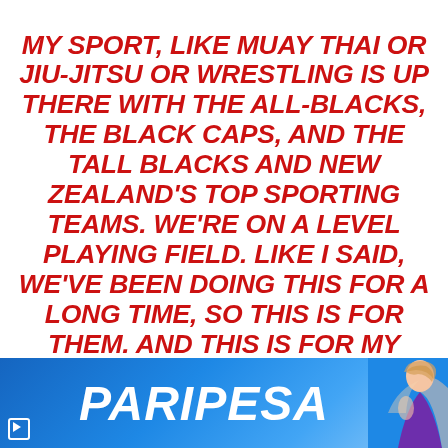MY SPORT, LIKE MUAY THAI OR JIU-JITSU OR WRESTLING IS UP THERE WITH THE ALL-BLACKS, THE BLACK CAPS, AND THE TALL BLACKS AND NEW ZEALAND'S TOP SPORTING TEAMS. WE'RE ON A LEVEL PLAYING FIELD. LIKE I SAID, WE'VE BEEN DOING THIS FOR A LONG TIME, SO THIS IS FOR THEM. AND THIS IS FOR MY TEAM, CITY KICKBOXING. THIS IS FOR MY COACH, EUGENE BAREMAN, BECAUSE WITHOUT HIM MY CAREER WOULDN'T BE SH*T. I WOULDN'T BE HERE. UNDERSTAND THAT.
[Figure (photo): PARIPESA advertisement banner with blue gradient background, white bold italic PARIPESA text logo, and partial image of a woman with blonde hair on the right side]